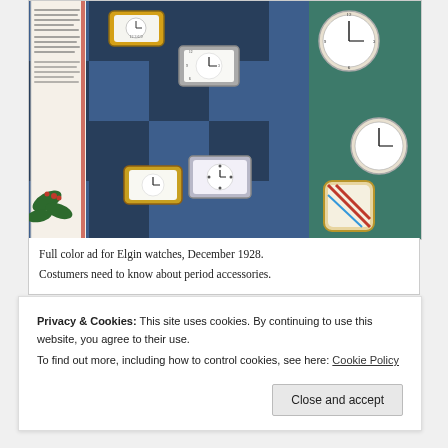[Figure (photo): Full color advertisement for Elgin watches, December 1928, showing multiple wristwatches and pocket watches arranged on a blue background display.]
Full color ad for Elgin watches, December 1928.
Costumers need to know about period accessories.
If you've just started reading witness2fashion,
Privacy & Cookies: This site uses cookies. By continuing to use this website, you agree to their use.
To find out more, including how to control cookies, see here: Cookie Policy